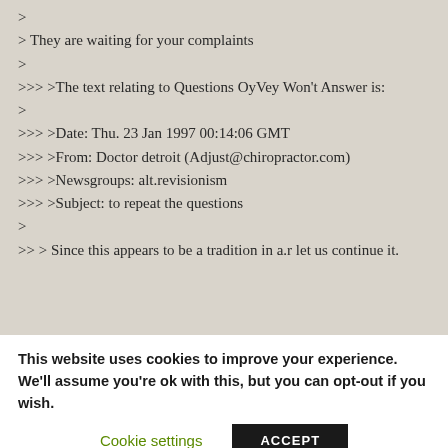>
> They are waiting for your complaints
>
>>> >The text relating to Questions OyVey Won't Answer is:
>
>>> >Date: Thu. 23 Jan 1997 00:14:06 GMT
>>> >From: Doctor detroit (Adjust@chiropractor.com)
>>> >Newsgroups: alt.revisionism
>>> >Subject: to repeat the questions
>
>> > Since this appears to be a tradition in a.r let us continue it.
This website uses cookies to improve your experience. We'll assume you're ok with this, but you can opt-out if you wish.
Cookie settings | ACCEPT